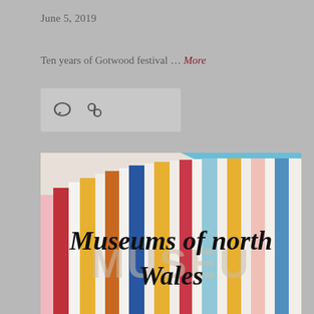June 5, 2019
Ten years of Gotwood festival … More
[Figure (photo): Social media icon bar with comment bubble and link icons on a light grey background]
[Figure (photo): Colourful striped museum building facade against blue sky with cursive script reading 'Museums of north Wales' overlaid in black]